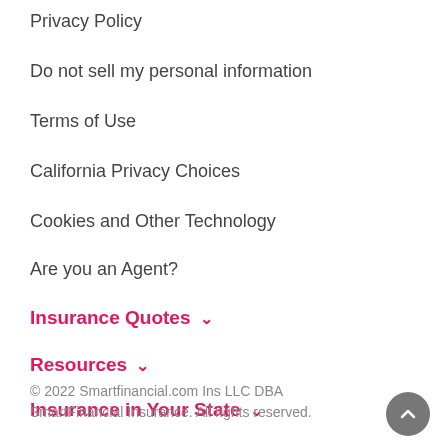Privacy Policy
Do not sell my personal information
Terms of Use
California Privacy Choices
Cookies and Other Technology
Are you an Agent?
Insurance Quotes ˅
Resources ˅
Insurance in Your State ˅
© 2022 Smartfinancial.com Ins LLC DBA SmartFinancial Insurance. All rights reserved.